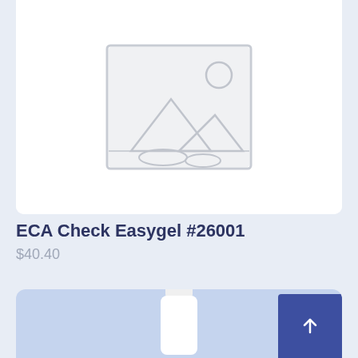[Figure (illustration): Product image placeholder — grey frame with mountain/sun icon on white background]
ECA Check Easygel #26001
$40.40
[Figure (photo): Partial view of a white cylindrical product container on a light blue background, with a blue scroll-to-top button in the bottom right corner]